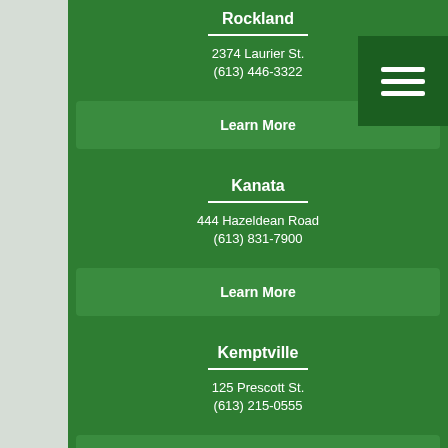Rockland
2374 Laurier St.
(613) 446-3322
Learn More
Kanata
444 Hazeldean Road
(613) 831-7900
Learn More
Kemptville
125 Prescott St.
(613) 215-0555
Learn More